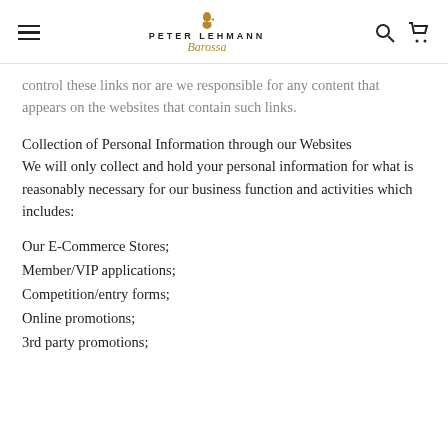Peter Lehmann Barossa
control these links nor are we responsible for any content that appears on the websites that contain such links.
Collection of Personal Information through our Websites
We will only collect and hold your personal information for what is reasonably necessary for our business function and activities which includes:
Our E-Commerce Stores;
Member/VIP applications;
Competition/entry forms;
Online promotions;
3rd party promotions;